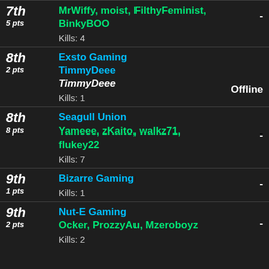7th | 5 pts | MrWiffy, moist, FilthyFeminist, BinkyBOO | Kills: 4 | -
8th | 2 pts | Exsto Gaming | TimmyDeee | TimmyDeee | Kills: 1 | Offline
8th | 8 pts | Seagull Union | Yameee, zKaito, walkz71, flukey22 | Kills: 7 | -
9th | 1 pts | Bizarre Gaming | Kills: 1 | -
9th | 2 pts | Nut-E Gaming | Ocker, ProzzyAu, Mzeroboyz | Kills: 2 | -